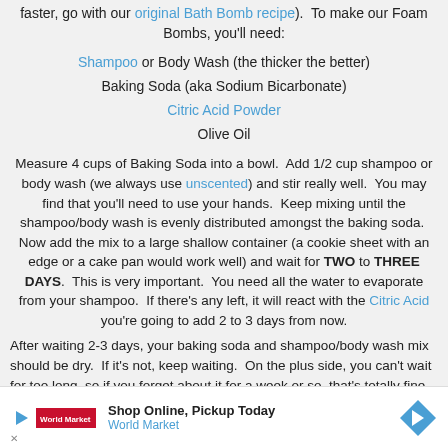faster, go with our original Bath Bomb recipe).  To make our Foam Bombs, you'll need:
Shampoo or Body Wash (the thicker the better)
Baking Soda (aka Sodium Bicarbonate)
Citric Acid Powder
Olive Oil
Measure 4 cups of Baking Soda into a bowl.  Add 1/2 cup shampoo or body wash (we always use unscented) and stir really well.  You may find that you'll need to use your hands.  Keep mixing until the shampoo/body wash is evenly distributed amongst the baking soda.  Now add the mix to a large shallow container (a cookie sheet with an edge or a cake pan would work well) and wait for TWO to THREE DAYS.  This is very important.  You need all the water to evaporate from your shampoo.  If there's any left, it will react with the Citric Acid you're going to add 2 to 3 days from now.
After waiting 2-3 days, your baking soda and shampoo/body wash mix should be dry.  If it's not, keep waiting.  On the plus side, you can't wait for too long, so if you forget about it for a week or so, that's totally fine.  Once it's dry, add 1/2 cup of Citric Acid and mix to distribute it evenly
[Figure (other): Advertisement banner: Shop Online, Pickup Today - World Market]